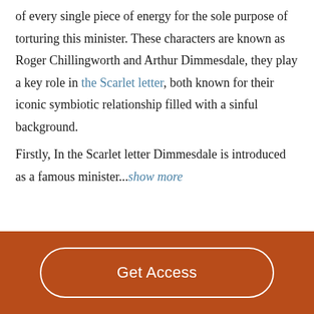of every single piece of energy for the sole purpose of torturing this minister. These characters are known as Roger Chillingworth and Arthur Dimmesdale, they play a key role in the Scarlet letter, both known for their iconic symbiotic relationship filled with a sinful background.

Firstly, In the Scarlet letter Dimmesdale is introduced as a famous minister... show more
Get Access